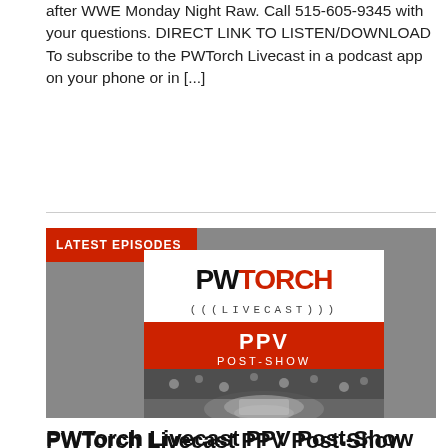after WWE Monday Night Raw. Call 515-605-9345 with your questions. DIRECT LINK TO LISTEN/DOWNLOAD To subscribe to the PWTorch Livecast in a podcast app on your phone or in [...]
[Figure (other): PWTorch Livecast PPV Post-Show podcast artwork. Grey background with red 'LATEST EPISODES' badge top-left. White panel with 'PWTORCH ((LIVECAST)))' logo. Red banner reads 'PPV POST-SHOW'. Black and white arena photo below.]
PWTorch Livecast PPV Post-Show (10-30-16): Greg Parks & Pat McNeill discuss WWE Hell In a Cell